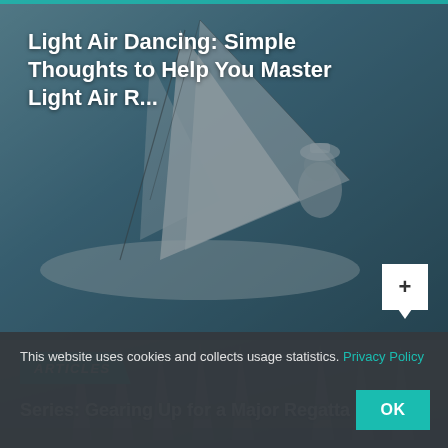[Figure (photo): Sailing photo showing sailors on a boat with white sails and rigging, close-up view with dark overlay]
Light Air Dancing: Simple Thoughts to Help You Master Light Air R...
[Figure (photo): Sailing regatta photo showing multiple sailboats with tall masts in light air conditions with dark overlay]
ARTICLES
Series: Gearing Up for a Major Regatta
This website uses cookies and collects usage statistics. Privacy Policy